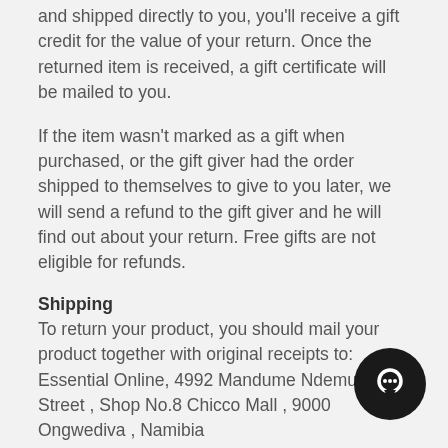and shipped directly to you, you'll receive a gift credit for the value of your return. Once the returned item is received, a gift certificate will be mailed to you.
If the item wasn't marked as a gift when purchased, or the gift giver had the order shipped to themselves to give to you later, we will send a refund to the gift giver and he will find out about your return. Free gifts are not eligible for refunds.
Shipping
To return your product, you should mail your product together with original receipts to: Essential Online, 4992 Mandume Ndemufayo Street , Shop No.8 Chicco Mall , 9000 Ongwediva , Namibia
You will be responsible for paying for your own shipping costs for returning your item. Shipping